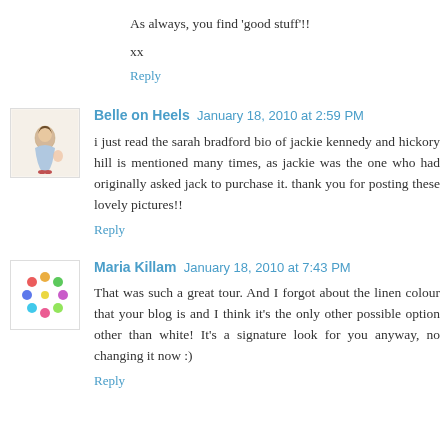As always, you find 'good stuff'!!
xx
Reply
Belle on Heels  January 18, 2010 at 2:59 PM
i just read the sarah bradford bio of jackie kennedy and hickory hill is mentioned many times, as jackie was the one who had originally asked jack to purchase it. thank you for posting these lovely pictures!!
Reply
Maria Killam  January 18, 2010 at 7:43 PM
That was such a great tour. And I forgot about the linen colour that your blog is and I think it's the only other possible option other than white! It's a signature look for you anyway, no changing it now :)
Reply